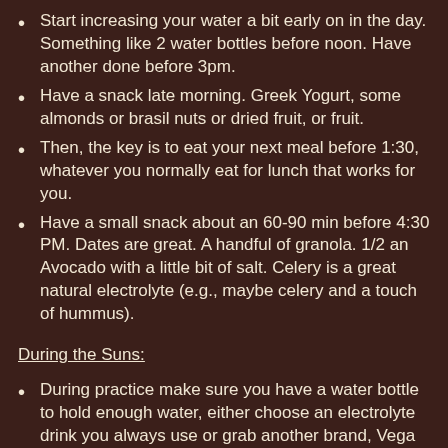Start increasing your water a bit early on in the day. Something like 2 water bottles before noon. Have another done before 3pm.
Have a snack late morning. Greek Yogurt, some almonds or brasil nuts or dried fruit, or fruit.
Then, the key is to eat your next meal before 1:30, whatever you normally eat for lunch that works for you.
Have a small snack about an 60-90 min before 4:30 PM. Dates are great. A handful of granola. 1/2 an Avocado with a little bit of salt. Celery is a great natural electrolyte (e.g., maybe celery and a touch of hummus).
During the Suns:
During practice make sure you have a water bottle to hold enough water, either choose an electrolyte drink you always use or grab another brand, Vega products are  good. Coconut water. Water